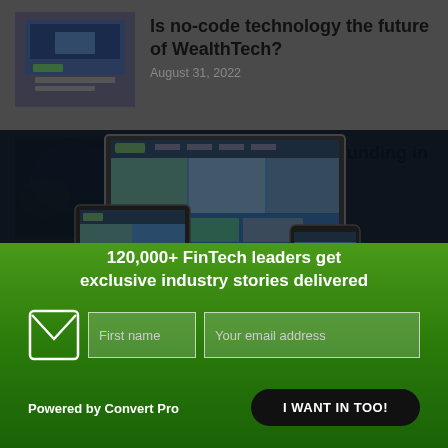Is no-code technology the future of WealthTech?
August 31, 2022
Pezesha scores $11m funding in pre-Series
[Figure (screenshot): Website displayed on laptop, tablet and mobile device mockups against dark background]
120,000+ FinTech leaders get exclusive industry stories delivered
First name
Your email address
Powered by Convert Pro
I WANT IN TOO!